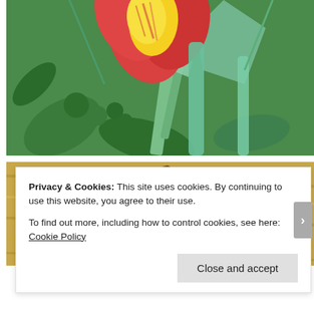[Figure (photo): Close-up photograph of a red and yellow canna lily flower with green foliage and stems in the background]
[Figure (photo): Photograph of a dark reddish-brown dried leaf or plant part on grass/hay ground]
Privacy & Cookies: This site uses cookies. By continuing to use this website, you agree to their use.
To find out more, including how to control cookies, see here: Cookie Policy
Close and accept